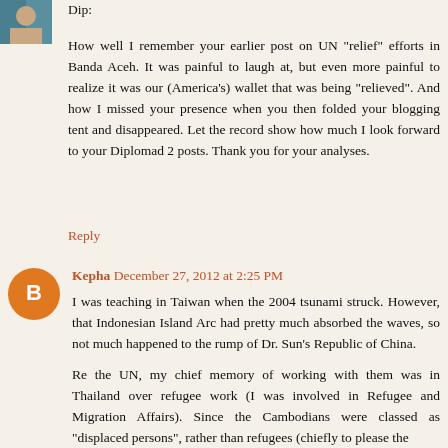Dip:
How well I remember your earlier post on UN "relief" efforts in Banda Aceh. It was painful to laugh at, but even more painful to realize it was our (America's) wallet that was being "relieved". And how I missed your presence when you then folded your blogging tent and disappeared. Let the record show how much I look forward to your Diplomad 2 posts. Thank you for your analyses.
Reply
Kepha December 27, 2012 at 2:25 PM
I was teaching in Taiwan when the 2004 tsunami struck. However, that Indonesian Island Arc had pretty much absorbed the waves, so not much happened to the rump of Dr. Sun's Republic of China.
Re the UN, my chief memory of working with them was in Thailand over refugee work (I was involved in Refugee and Migration Affairs). Since the Cambodians were classed as "displaced persons", rather than refugees (chiefly to please the